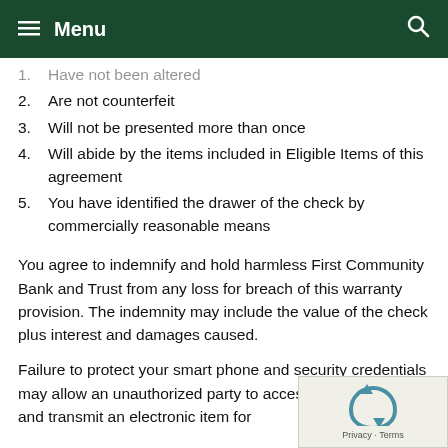Menu
1. Have not been altered
2. Are not counterfeit
3. Will not be presented more than once
4. Will abide by the items included in Eligible Items of this agreement
5. You have identified the drawer of the check by commercially reasonable means
You agree to indemnify and hold harmless First Community Bank and Trust from any loss for breach of this warranty provision. The indemnity may include the value of the check plus interest and damages caused.
Failure to protect your smart phone and security credentials may allow an unauthorized party to access Mobile Deposit and transmit an electronic item for